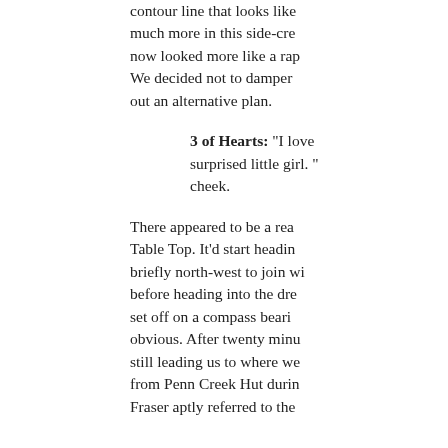contour line that looks like much more in this side-cre now looked more like a rap We decided not to damper out an alternative plan.
3 of Hearts: “I love surprised little girl. “ cheek.
There appeared to be a rea Table Top. It’d start headin briefly north-west to join wi before heading into the dre set off on a compass beari obvious. After twenty minu still leading us to where we from Penn Creek Hut duri Fraser aptly referred to the